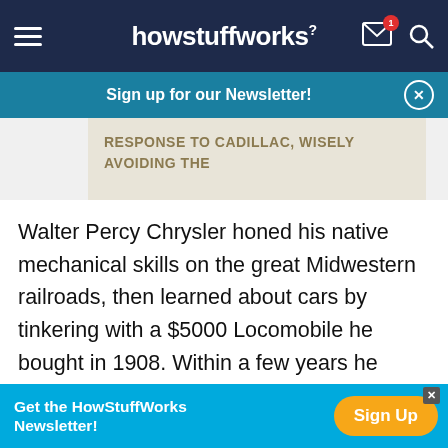howstuffworks
Sign up for our Newsletter!
RESPONSE TO CADILLAC, WISELY AVOIDING THE
Walter Percy Chrysler honed his native mechanical skills on the great Midwestern railroads, then learned about cars by tinkering with a $5000 Locomobile he bought in 1908. Within a few years he became plant manager at Buick under Charles W. Nash, then took over for him as Buick president. But Chrysler didn't get along with GM's Billy Durant, so he
Get the HowStuffWorks Newsletter! Sign Up